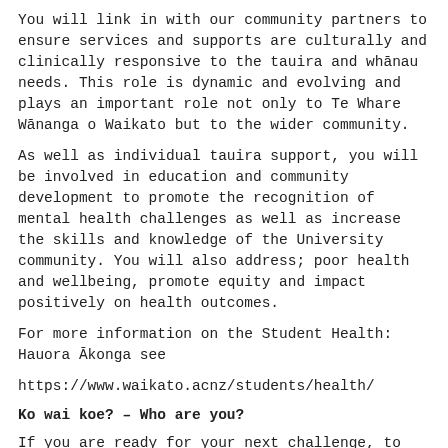You will link in with our community partners to ensure services and supports are culturally and clinically responsive to the tauira and whānau needs. This role is dynamic and evolving and plays an important role not only to Te Whare Wānanga o Waikato but to the wider community.
As well as individual tauira support, you will be involved in education and community development to promote the recognition of mental health challenges as well as increase the skills and knowledge of the University community. You will also address; poor health and wellbeing, promote equity and impact positively on health outcomes.
For more information on the Student Health: Hauora Ākonga see
https://www.waikato.acnz/students/health/
Ko wai koe? – Who are you?
If you are ready for your next challenge, to utilise your expertise and to join a vibrant, creative, holistic health and wellbeing service, where you will be valued.
You will have the following...